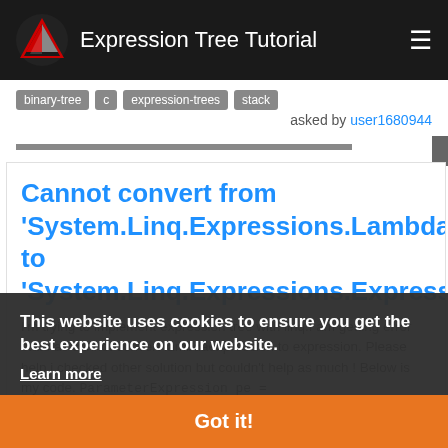Expression Tree Tutorial
binary-tree  c  expression-trees  stack
asked by user1680944
Cannot convert from 'System.Linq.Expressions.LambdaExpression to 'System.Linq.Expressions.Expression
I'm trying to implement expression tree with linq.I am getting error state as cannot convert lambdaexpression to expression. Please help i checked other solution but couldn't help as much ! Below is my code. ParameterExpression pe =
= Expression.Lambda(Expression.Property(pe,
This website uses cookies to ensure you get the best experience on our website. Learn more
Got it!